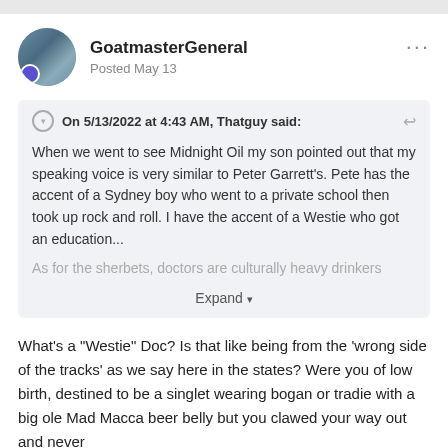GoatmasterGeneral
Posted May 13
On 5/13/2022 at 4:43 AM, Thatguy said:
When we went to see Midnight Oil my son pointed out that my speaking voice is very similar to Peter Garrett's. Pete has the accent of a Sydney boy who went to a private school then took up rock and roll. I have the accent of a Westie who got an education...
As for the sherbets, doctors are culturally heavy drinkers
Expand
What's a "Westie" Doc? Is that like being from the 'wrong side of the tracks' as we say here in the states? Were you of low birth, destined to be a singlet wearing bogan or tradie with a big ole Mad Macca beer belly but you clawed your way out and never